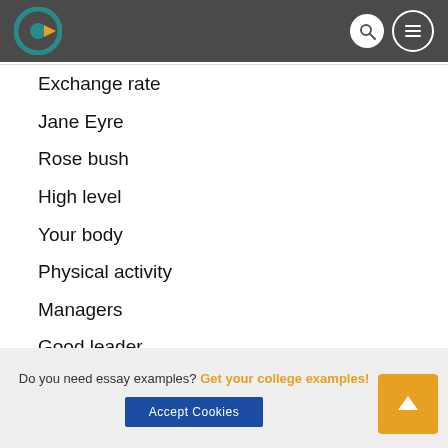[Figure (logo): Website header with logo (circular teal/yellow icon), search icon, and menu icon on dark gray background]
Exchange rate
Jane Eyre
Rose bush
High level
Your body
Physical activity
Managers
Good leader
Company
Nature
Care system
Their employees
Do you need essay examples? Get your college examples!
Accept Cookies